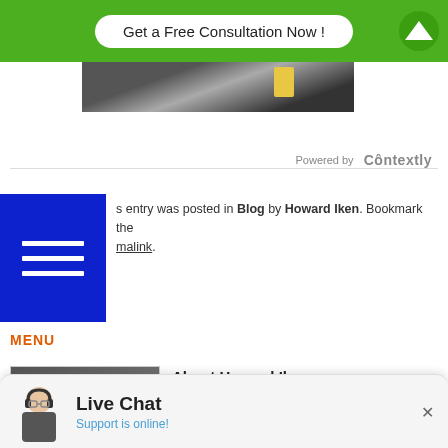[Figure (screenshot): Green header banner with 'Get a Free Consultation Now!' button and up arrow icon]
[Figure (photo): Partial image strip showing blurred background scene]
Powered by Contextly
s entry was posted in Blog by Howard Iken. Bookmark the malink.
MENU
About Howard Iken
If you are looking for divorce information you will find tons of free information on this website. Divorce Attorney Howard Iken personally created this website with a personal mission: to help people at this critical moment in their lives and to make the process of divorce easier, more understandable, & less intimidating. CONTACT US NOW or call 800-469-3486 (800-4MyDivorce)
View all posts by Howard Iken →
[Figure (screenshot): Live Chat support widget with operator photo, 'Live Chat' heading, and 'Support is online!' text]